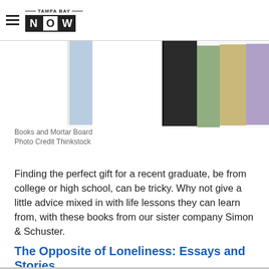TAMPA BAY NOW
[Figure (photo): Cropped photo of colorful books standing upright on a white background — spines of blue, dark/black, green, tan/khaki, and lavender/purple books visible]
Books and Mortar Board
Photo Credit Thinkstock
Finding the perfect gift for a recent graduate, be from college or high school, can be tricky. Why not give a little advice mixed in with life lessons they can learn from, with these books from our sister company Simon & Schuster.
The Opposite of Loneliness: Essays and Stories